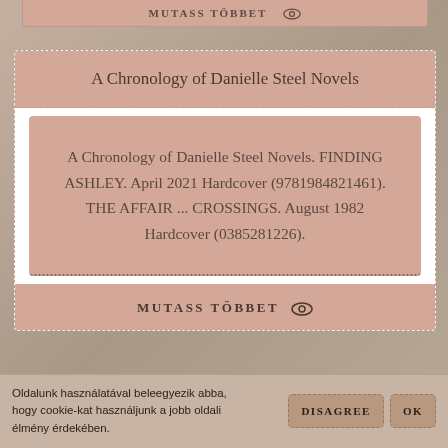MUTASS TÖBBET
A Chronology of Danielle Steel Novels
A Chronology of Danielle Steel Novels. FINDING ASHLEY. April 2021 Hardcover (9781984821461). THE AFFAIR ... CROSSINGS. August 1982 Hardcover (0385281226).
MUTASS TÖBBET
Oldalunk használatával beleegyezik abba, hogy cookie-kat használjunk a jobb oldali élmény érdekében.